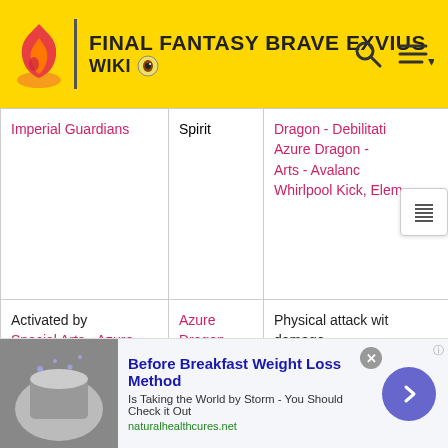FINAL FANTASY BRAVE EXVIUS WIKI
|  |  |  |
| --- | --- | --- |
| Imperial Guardians | Spirit | Dragon - Debilitati... Azure Dragon -... Arts - Avalanc... Whirlpool Kick, Elem... |
| Activated by Special Arts - Azure Dragon Style, Tai Chi Strike (LB) | Azure Dragon - Enhanced Chi | Physical attack wit... damage. See the mechanics... Magic* damage (12... scaling to one ene... Increase modifier (... turns to caster (ca... dispelled): Azure Dr... Debilitating Acupoi... Dragon - Enervatin... |
[Figure (advertisement): Before Breakfast Weight Loss Method ad banner with food image and arrow button]